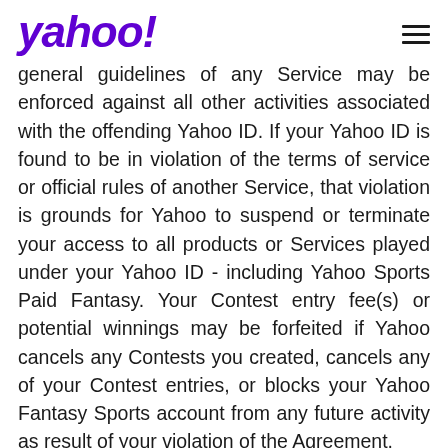yahoo!
general guidelines of any Service may be enforced against all other activities associated with the offending Yahoo ID. If your Yahoo ID is found to be in violation of the terms of service or official rules of another Service, that violation is grounds for Yahoo to suspend or terminate your access to all products or Services played under your Yahoo ID - including Yahoo Sports Paid Fantasy. Your Contest entry fee(s) or potential winnings may be forfeited if Yahoo cancels any Contests you created, cancels any of your Contest entries, or blocks your Yahoo Fantasy Sports account from any future activity as result of your violation of the Agreement.